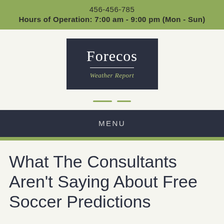456-456-785
Hours of Operation: 7:00 am - 9:00 pm (Mon - Sun)
[Figure (logo): Forecos Weather Report logo — dark navy rectangle with white serif text 'Forecos', a thin white horizontal line, and italic olive-green text 'Weather Report']
What The Consultants Aren't Saying About Free Soccer Predictions